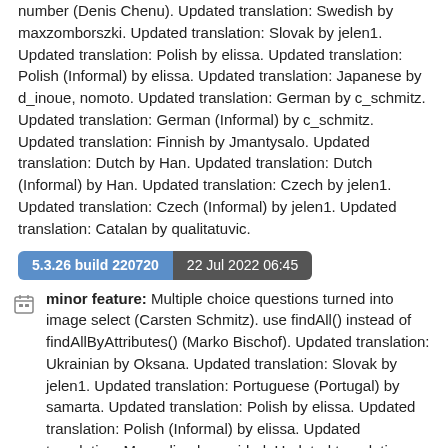number (Denis Chenu). Updated translation: Swedish by maxzomborszki. Updated translation: Slovak by jelen1. Updated translation: Polish by elissa. Updated translation: Polish (Informal) by elissa. Updated translation: Japanese by d_inoue, nomoto. Updated translation: German by c_schmitz. Updated translation: German (Informal) by c_schmitz. Updated translation: Finnish by Jmantysalo. Updated translation: Dutch by Han. Updated translation: Dutch (Informal) by Han. Updated translation: Czech by jelen1. Updated translation: Czech (Informal) by jelen1. Updated translation: Catalan by qualitatuvic.
5.3.26 build 220720   22 Jul 2022 06:45
minor feature: Multiple choice questions turned into image select (Carsten Schmitz). use findAll() instead of findAllByAttributes() (Marko Bischof). Updated translation: Ukrainian by Oksana. Updated translation: Slovak by jelen1. Updated translation: Portuguese (Portugal) by samarta. Updated translation: Polish by elissa. Updated translation: Polish (Informal) by elissa. Updated translation: Mongolian by amidral. Updated translation: Lithuanian by simasj. Updated translation: Japanese by nomoto. Updated translation: Italian by lfanfoni. Updated translation: Italian (Informal) by lfanfoni. Updated translation: Hungarian by kkd. Updated translation: German by c_schmitz. Updated translation: German (Informal) by c_schmitz. Updated translation: Georgian by llasha, riversampling1. Updated translation: Finnish by Jmantysalo. Updated translation: Dutch by Han. Updated translation: Dutch (Informal) by Han. Updated translation: Czech by jelen1. Updated translation: Czech (Informal) by